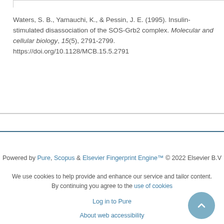Waters, S. B., Yamauchi, K., & Pessin, J. E. (1995). Insulin-stimulated disassociation of the SOS-Grb2 complex. Molecular and cellular biology, 15(5), 2791-2799. https://doi.org/10.1128/MCB.15.5.2791
Powered by Pure, Scopus & Elsevier Fingerprint Engine™ © 2022 Elsevier B.V
We use cookies to help provide and enhance our service and tailor content. By continuing you agree to the use of cookies
Log in to Pure
About web accessibility